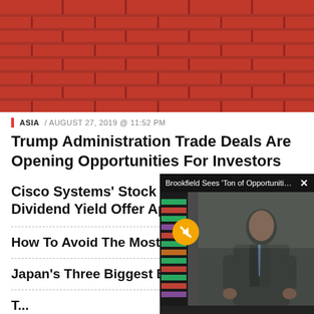[Figure (photo): Red brick wall close-up photo used as hero image]
ASIA / AUGUST 27, 2019 @ 11:52 PM
Trump Administration Trade Deals Are Opening Opportunities For Investors
Cisco Systems' Stock Price Climb, Dividend Yield Offer Appeal
How To Avoid The Most...
Japan's Three Biggest B...
[Figure (screenshot): Video overlay popup showing a man in a suit with title 'Brookfield Sees Ton of Opportunities i...' and a mute button]